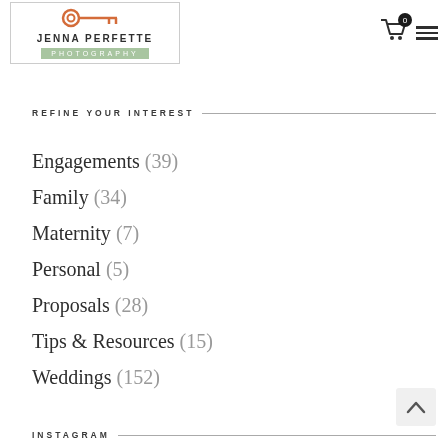[Figure (logo): Jenna Perfette Photography logo with key icon, brand name, and green banner reading PHOTOGRAPHY]
REFINE YOUR INTEREST
Engagements (39)
Family (34)
Maternity (7)
Personal (5)
Proposals (28)
Tips & Resources (15)
Weddings (152)
INSTAGRAM